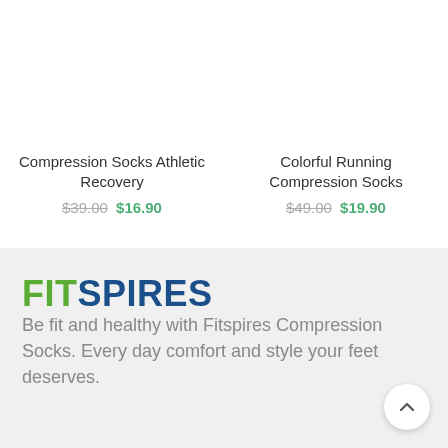Compression Socks Athletic Recovery
$39.00 $16.90
Colorful Running Compression Socks
$49.00 $19.90
FITSPIRES
Be fit and healthy with Fitspires Compression Socks. Every day comfort and style your feet deserves.